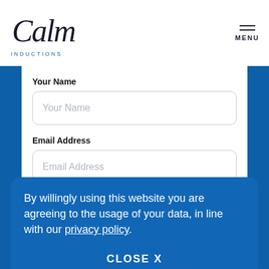Calm Inductions | MENU
Your Name
Your Name (placeholder)
Email Address
Email Address (placeholder)
By willingly using this website you are agreeing to the usage of your data, in line with our privacy policy.
CLOSE X
Message (placeholder)